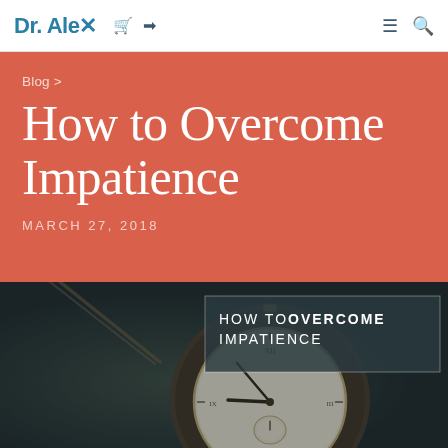Dr. Alex
Blog >
How to Overcome Impatience
MARCH 27, 2018
[Figure (photo): Dark atmospheric photo of a vintage pocket watch on a dark surface, with an overlay text box reading 'HOW TO OVERCOME IMPATIENCE']